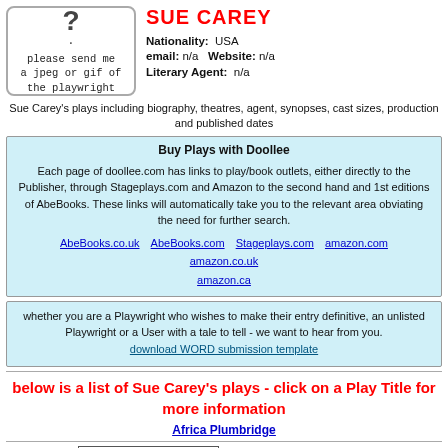[Figure (illustration): Placeholder image box with a question mark and text 'please send me a jpeg or gif of the playwright']
SUE CAREY
Nationality: USA
email: n/a  Website: n/a
Literary Agent: n/a
Sue Carey's plays including biography, theatres, agent, synopses, cast sizes, production and published dates
Buy Plays with Doollee
Each page of doollee.com has links to play/book outlets, either directly to the Publisher, through Stageplays.com and Amazon to the second hand and 1st editions of AbeBooks. These links will automatically take you to the relevant area obviating the need for further search.
AbeBooks.co.uk  AbeBooks.com  Stageplays.com  amazon.com  amazon.co.uk  amazon.ca
whether you are a Playwright who wishes to make their entry definitive, an unlisted Playwright or a User with a tale to tell - we want to hear from you.
download WORD submission template
below is a list of Sue Carey's plays - click on a Play Title for more information
Africa Plumbridge
Africa Plumbridge